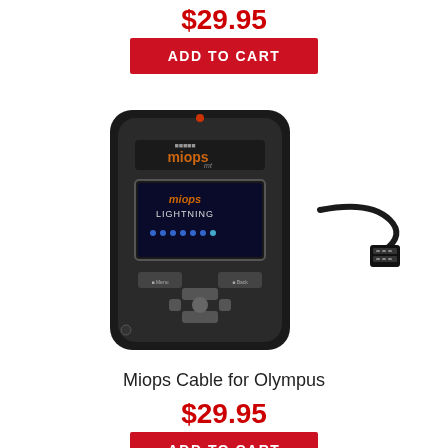$29.95
ADD TO CART
[Figure (photo): Miops MT smart camera trigger device (black) with an Olympus cable connector shown to the right]
Miops Cable for Olympus
$29.95
ADD TO CART
[Figure (photo): Partially visible product image at bottom of page]